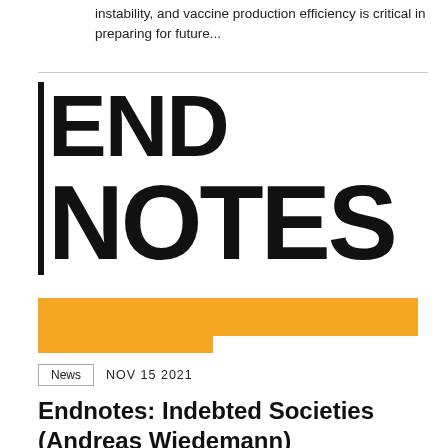instability, and vaccine production efficiency is critical in preparing for future...
[Figure (logo): END NOTES publication logo in large black bold text with orange geometric accent bar]
News  NOV 15 2021
Endnotes: Indebted Societies (Andreas Wiedemann)